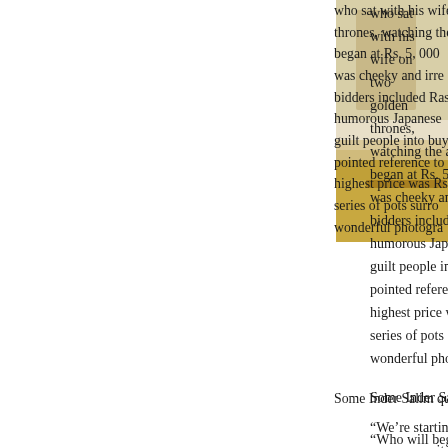[Figure (photo): Partial photo visible at top right corner showing what appears to be golden/amber toned objects on a wooden floor]
who sat with his wife on two golden thrones, watching the audien... began at Rs. 5, 000 ... was cheeky and irre... bidders included Ras... humorous Japanese... guilt people into buy... pointed reference to... highest price was Rs... series of pots surro... wonderful photogra...
Some Inder Salim qu...
"We're starting at Rs... assure you, it will go...
"Who will begin? Pe... art with a reputation...